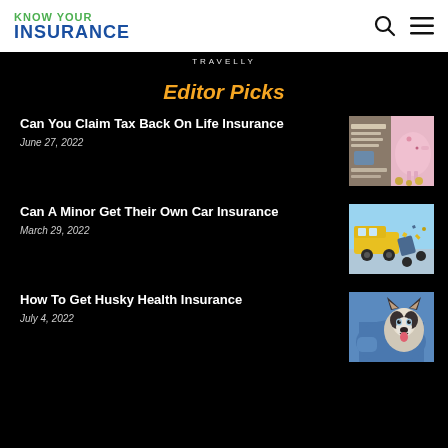KNOW YOUR INSURANCE
TRAVELLY
Editor Picks
Can You Claim Tax Back On Life Insurance
June 27, 2022
[Figure (photo): Piggy bank and financial documents]
Can A Minor Get Their Own Car Insurance
March 29, 2022
[Figure (photo): Toy cars in a crash scene]
How To Get Husky Health Insurance
July 4, 2022
[Figure (photo): Person holding a Husky dog]